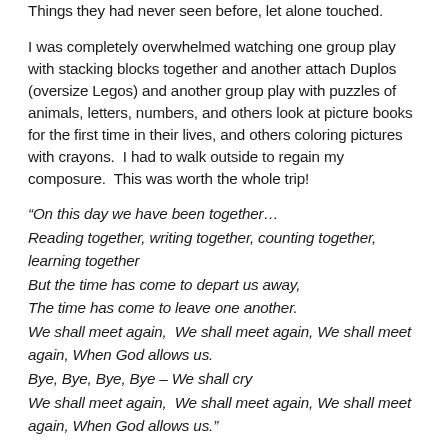Things they had never seen before, let alone touched.
I was completely overwhelmed watching one group play with stacking blocks together and another attach Duplos (oversize Legos) and another group play with puzzles of animals, letters, numbers, and others look at picture books for the first time in their lives, and others coloring pictures with crayons.  I had to walk outside to regain my composure.  This was worth the whole trip!
“On this day we have been together…
Reading together, writing together, counting together, learning together
But the time has come to depart us away,
The time has come to leave one another.
We shall meet again,  We shall meet again, We shall meet again, When God allows us.
Bye, Bye, Bye, Bye – We shall cry
We shall meet again,  We shall meet again, We shall meet again, When God allows us.”